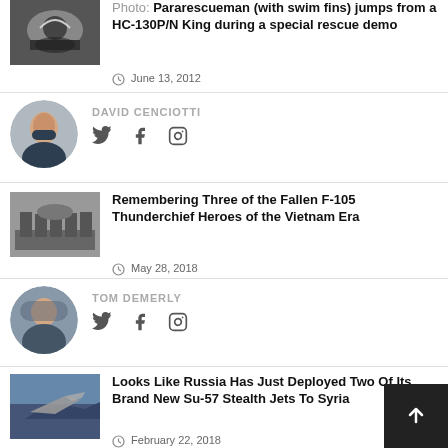[Figure (photo): Thumbnail photo of a parescueman jumping from HC-130P/N King aircraft]
Photo: Pararescueman (with swim fins) jumps from a HC-130P/N King during a special rescue demo
June 13, 2012
[Figure (photo): Circular portrait photo of David Cenciotti]
DAVID CENCIOTTI
[Figure (photo): Thumbnail black and white photo of F-105 Thunderchief aircrew]
Remembering Three of the Fallen F-105 Thunderchief Heroes of the Vietnam Era
May 28, 2018
[Figure (photo): Circular portrait photo of Tom Demerly]
TOM DEMERLY
[Figure (photo): Thumbnail photo of Su-57 stealth jet flying]
Looks Like Russia Has Just Deployed Two Of Its Brand New Su-57 Stealth Jets To Syria
February 22, 2018